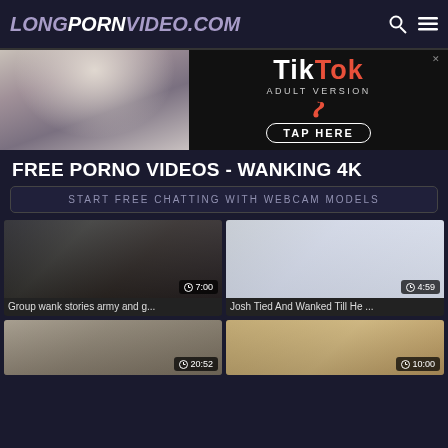LONGPORNVIDEO.COM
[Figure (screenshot): TikTok Adult Version advertisement banner with tap here button]
FREE PORNO VIDEOS - WANKING 4K
START FREE CHATTING WITH WEBCAM MODELS
[Figure (screenshot): Video thumbnail - Group wank stories army and g... duration 7:00]
[Figure (screenshot): Video thumbnail - Josh Tied And Wanked Till He ... duration 4:59]
Group wank stories army and g...
Josh Tied And Wanked Till He ...
[Figure (screenshot): Video thumbnail duration 20:52]
[Figure (screenshot): Video thumbnail duration 10:00]